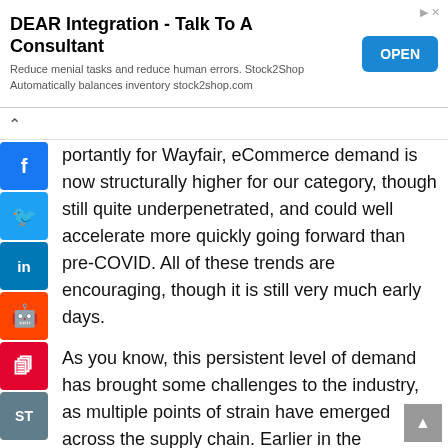[Figure (other): Advertisement banner: DEAR Integration - Talk To A Consultant. Reduce menial tasks and reduce human errors. Stock2Shop Automatically balances inventory stock2shop.com. Blue OPEN button on right.]
portantly for Wayfair, eCommerce demand is now structurally higher for our category, though still quite underpenetrated, and could well accelerate more quickly going forward than pre-COVID. All of these trends are encouraging, though it is still very much early days.
As you know, this persistent level of demand has brought some challenges to the industry, as multiple points of strain have emerged across the supply chain. Earlier in the pandemic, inventory availability and outbound bottlenecks were the biggest sources of stress. More recently, inventory constraints have been